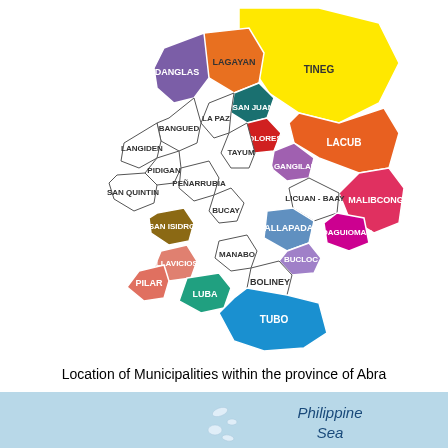[Figure (map): Colored municipality map of the province of Abra, Philippines, showing labeled municipalities: TINEG, LAGAYAN, DANGLAS, SAN JUAN, LACUB, LA PAZ, DOLORES, BANGUED, TAYUM, LAGANGILANG, LANGIDEN, LICUAN-BAAY, MALIBCONG, PIDIGAN, PENARRUBIA, BUCAY, SAN QUINTIN, SALLAPADAN, DAGUIOMAN, SAN ISIDRO, BUCLOC, MANABO, BOLINEY, VILLAVICIOSA, PILAR, LUBA, TUBO]
Location of Municipalities within the province of Abra
[Figure (map): Partial map showing Philippine Sea label on light blue background with island outlines visible]